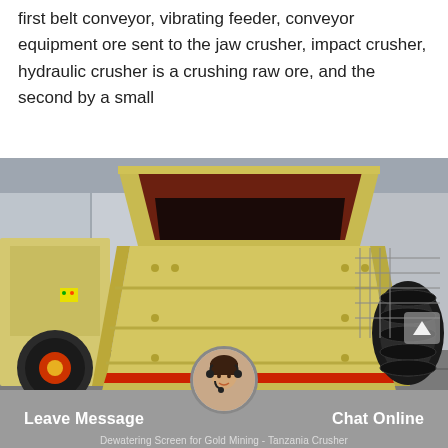first belt conveyor, vibrating feeder, conveyor equipment ore sent to the jaw crusher, impact crusher, hydraulic crusher is a crushing raw ore, and the second by a small
[Figure (photo): A large yellow industrial impact crusher machine photographed outdoors in front of a warehouse/factory building. The machine has a hopper opening at the top (dark red interior), a thick trapezoidal body with bolt details, a red stripe near the base, and a black belt pulley on the right side. Another yellow machine is partially visible on the left.]
Dewatering Screen for Gold Mining - Tanzania Crusher